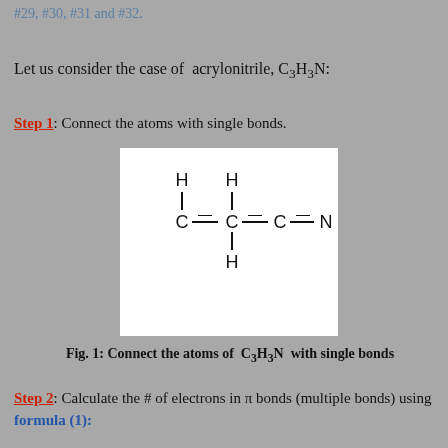#29, #30, #31 and #32.
Let us consider the case of acrylonitrile, C3H3N:
Step 1: Connect the atoms with single bonds.
[Figure (chemical-structure): Lewis structure diagram showing C-C-C-N chain with H atoms attached. First C has one H above. Second C has one H above and one H below. Third C connects to N. Single bond structure of acrylonitrile C3H3N.]
Fig. 1: Connect the atoms of C3H3N with single bonds
Step 2: Calculate the # of electrons in π bonds (multiple bonds) using formula (1):